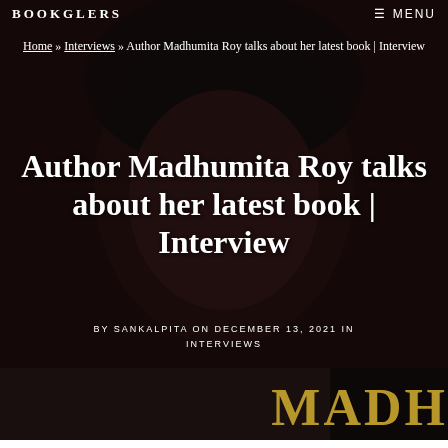BOOKGLERS   ≡ MENU
Home » Interviews » Author Madhumita Roy talks about her latest book | Interview
Author Madhumita Roy talks about her latest book | Interview
BY SANKALPITA ON DECEMBER 13, 2021 IN INTERVIEWS
[Figure (photo): Dark-toned portrait of a woman with glasses and pearl necklace, with partial gold bold text 'MADH' visible at bottom right]